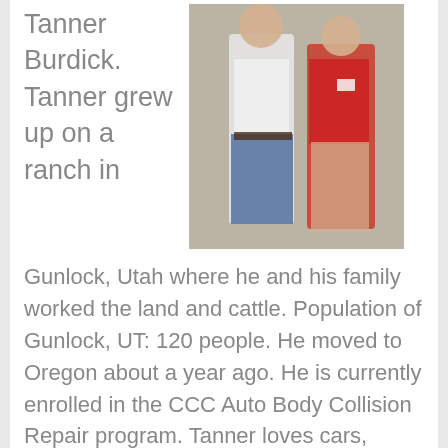Tanner Burdick. Tanner grew up on a ranch in
[Figure (photo): Two people standing together: a man in a white shirt and jeans with a belt buckle on the left, and a woman in a red jacket on the right. They appear to be at an indoor event.]
Gunlock, Utah where he and his family worked the land and cattle. Population of Gunlock, UT: 120 people. He moved to Oregon about a year ago. He is currently enrolled in the CCC Auto Body Collision Repair program. Tanner loves cars, especially the classics. He found his love for cars from a broken down